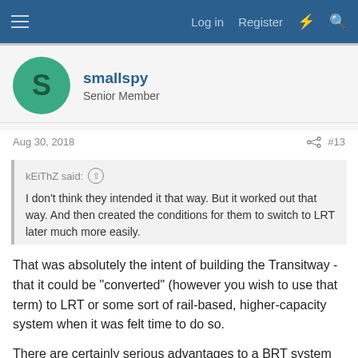Log in   Register
smallspy
Senior Member
Aug 30, 2018   #13
kEiThZ said:
I don't think they intended it that way. But it worked out that way. And then created the conditions for them to switch to LRT later much more easily.
That was absolutely the intent of building the Transitway - that it could be "converted" (however you wish to use that term) to LRT or some sort of rail-based, higher-capacity system when it was felt time to do so.
There are certainly serious advantages to a BRT system as implemented in Ottawa, which is why they will continue to use the